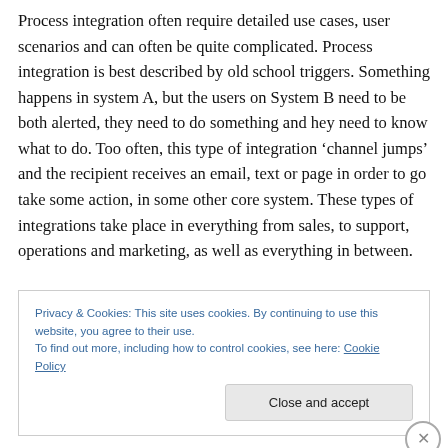Process integration often require detailed use cases, user scenarios and can often be quite complicated. Process integration is best described by old school triggers. Something happens in system A, but the users on System B need to be both alerted, they need to do something and hey need to know what to do. Too often, this type of integration ‘channel jumps’ and the recipient receives an email, text or page in order to go take some action, in some other core system. These types of integrations take place in everything from sales, to support, operations and marketing, as well as everything in between.
Privacy & Cookies: This site uses cookies. By continuing to use this website, you agree to their use.
To find out more, including how to control cookies, see here: Cookie Policy
Close and accept